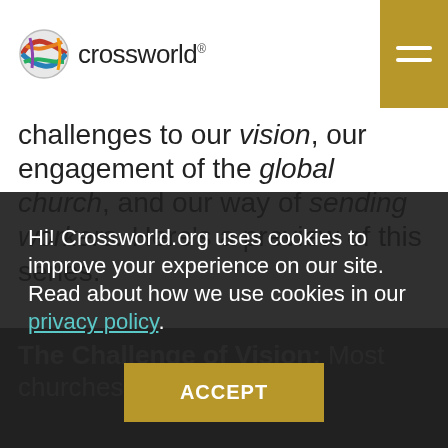crossworld
challenges to our vision, our engagement of the global church, and our way of sending workers. Here's a preview of this series.
The Challenge of Vision: ...
Hi! Crossworld.org uses cookies to improve your experience on our site. Read about how we use cookies in our privacy policy.
ACCEPT